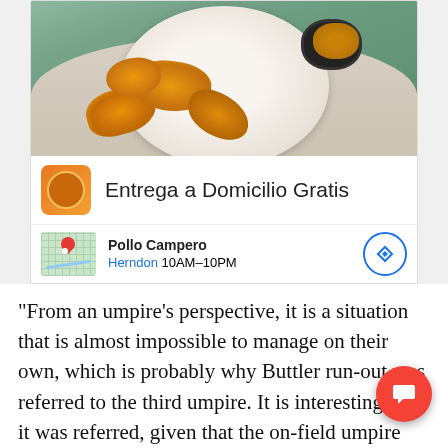[Figure (photo): Photo of fried chicken pieces on a white plate with a small bowl of dipping sauce, part of a restaurant advertisement for Pollo Campero.]
Entrega a Domicilio Gratis
Pollo Campero
Herndon 10AM–10PM
"From an umpire's perspective, it is a situation that is almost impossible to manage on their own, which is probably why Buttler run-out was referred to the third umpire. It is interesting that it was referred, given that the on-field umpi... didn't necessarily think the ball was de... and at no stage did Ashwin actually got to